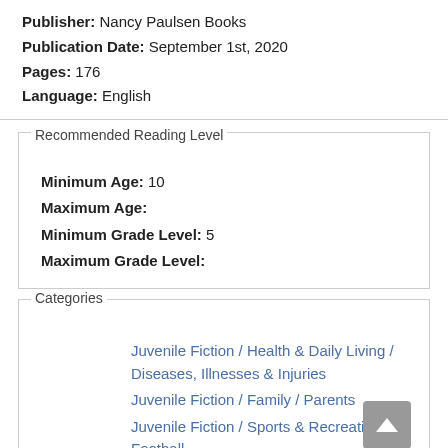Publisher: Nancy Paulsen Books
Publication Date: September 1st, 2020
Pages: 176
Language: English
Recommended Reading Level
Minimum Age: 10
Maximum Age:
Minimum Grade Level: 5
Maximum Grade Level:
Categories
Juvenile Fiction / Health & Daily Living / Diseases, Illnesses & Injuries
Juvenile Fiction / Family / Parents
Juvenile Fiction / Sports & Recreation / Football
Related Editions (all)